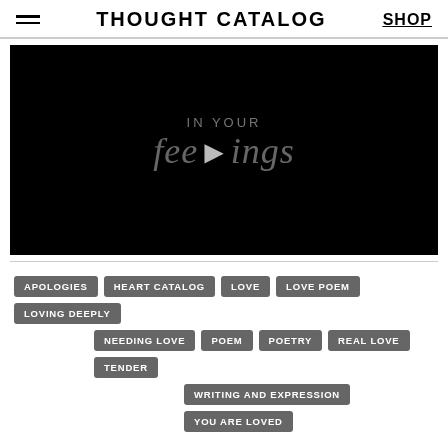THOUGHT CATALOG | SHOP
[Figure (screenshot): Video player with black background showing text 'IN YOUR feelings' with a play button in the center]
APOLOGIES
HEART CATALOG
LOVE
LOVE POEM
LOVING DEEPLY
NEEDING LOVE
POEM
POETRY
REAL LOVE
TENDER
WRITING AND EXPRESSION
YOU ARE LOVED
MORE FROM THOUGHT CATALOG